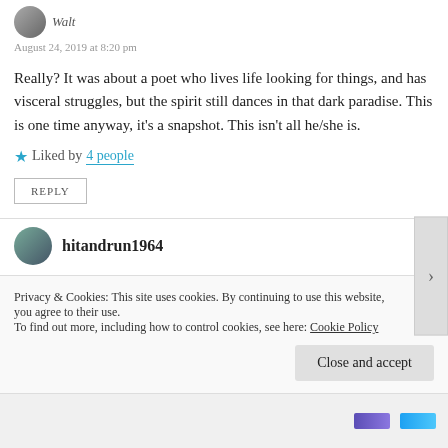August 24, 2019 at 8:20 pm
Really? It was about a poet who lives life looking for things, and has visceral struggles, but the spirit still dances in that dark paradise. This is one time anyway, it's a snapshot. This isn't all he/she is.
Liked by 4 people
REPLY
hitandrun1964
Privacy & Cookies: This site uses cookies. By continuing to use this website, you agree to their use. To find out more, including how to control cookies, see here: Cookie Policy
Close and accept